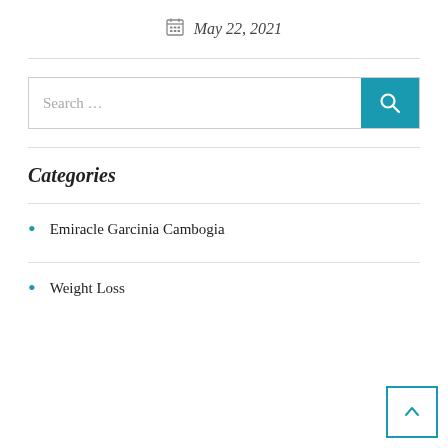May 22, 2021
Categories
Emiracle Garcinia Cambogia
Weight Loss